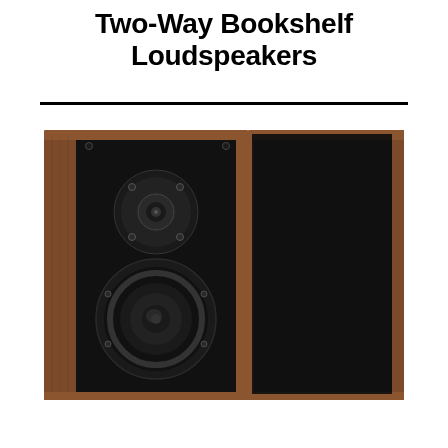Two-Way Bookshelf Loudspeakers
[Figure (photo): Two bookshelf loudspeakers shown side by side. Left speaker faces forward showing a black baffle with a dome tweeter on top and a woofer below, both in circular mounts, with walnut wood side panels. Right speaker is turned to show the side/back with a black grille and walnut side panel.]